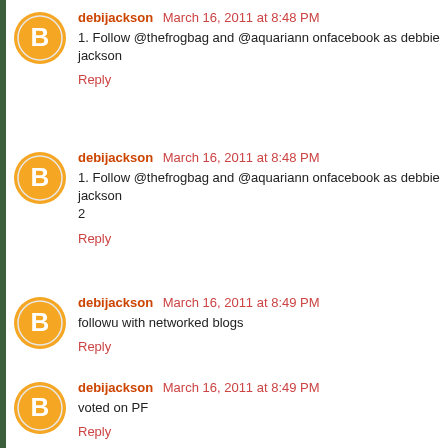debijackson March 16, 2011 at 8:48 PM
1. Follow @thefrogbag and @aquariann onfacebook as debbie jackson
Reply
debijackson March 16, 2011 at 8:48 PM
1. Follow @thefrogbag and @aquariann onfacebook as debbie jackson
2
Reply
debijackson March 16, 2011 at 8:49 PM
followu with networked blogs
Reply
debijackson March 16, 2011 at 8:49 PM
voted on PF
Reply